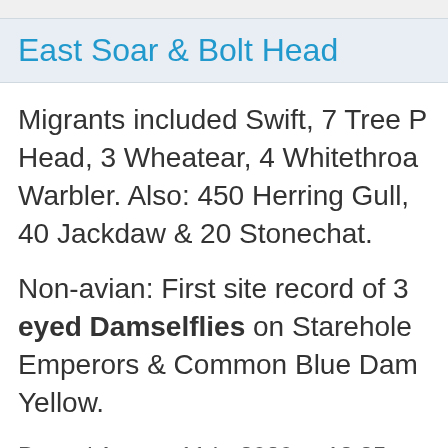East Soar & Bolt Head
Migrants included Swift, 7 Tree Pipits at Bolt Head, 3 Wheatear, 4 Whitethroat, Garden Warbler. Also: 450 Herring Gull, 40 Jackdaw & 20 Stonechat.
Non-avian: First site record of 3 Small Red-eyed Damselflies on Starehole Bay, also Emperors & Common Blue Damselflies, Clouded Yellow.
Posted August 11th, 2020 at 12:25 pm
Bird News